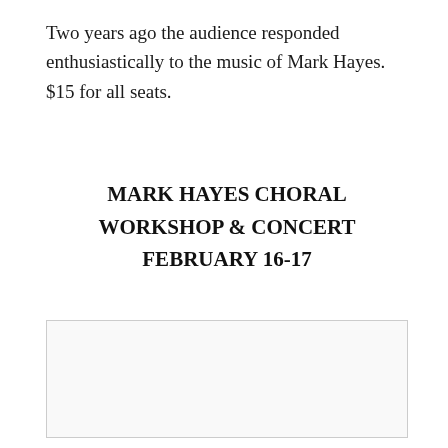Two years ago the audience responded enthusiastically to the music of Mark Hayes. $15 for all seats.
MARK HAYES CHORAL WORKSHOP & CONCERT FEBRUARY 16-17
[Figure (other): Large blank/light image placeholder area below the title, likely an image or form section]